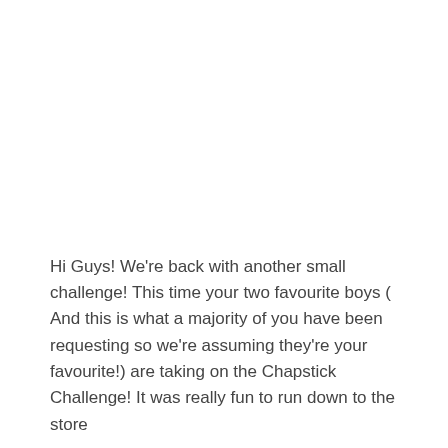Hi Guys! We're back with another small challenge! This time your two favourite boys ( And this is what a majority of you have been requesting so we're assuming they're your favourite!) are taking on the Chapstick Challenge! It was really fun to run down to the store